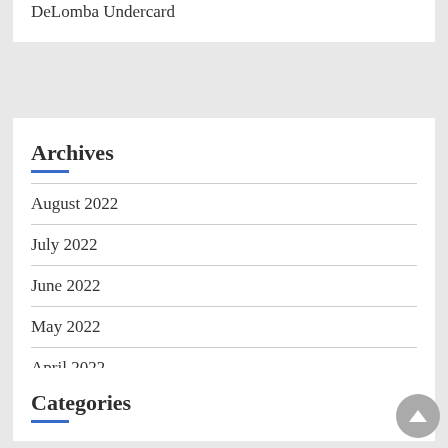DeLomba Undercard
Archives
August 2022
July 2022
June 2022
May 2022
April 2022
Categories